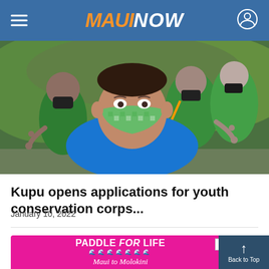MAUI NOW
[Figure (photo): Group of young people wearing green shirts and face masks, smiling and making hand gestures outdoors near green grass. Selfie-style photo with one person in foreground wearing a blue shirt and plaid green face mask.]
Kupu opens applications for youth conservation corps...
January 10, 2022
[Figure (other): Advertisement for Paddle for Life - Maui to Molokini event, magenta/pink background with white text and wave/paddle graphics, with 'IN SUPPORT OF' text at the bottom.]